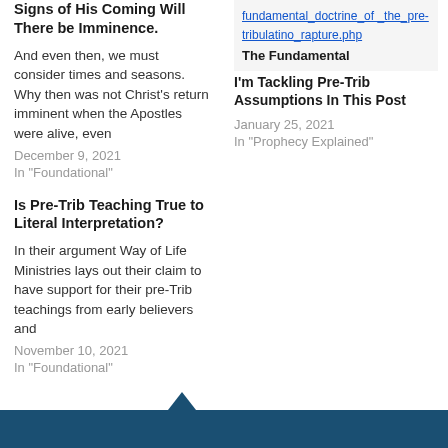Signs of His Coming Will There be Imminence.
And even then, we must consider times and seasons. Why then was not Christ's return imminent when the Apostles were alive, even
December 9, 2021
In "Foundational"
Is Pre-Trib Teaching True to Literal Interpretation?
In their argument Way of Life Ministries lays out their claim to have support for their pre-Trib teachings from early believers and
November 10, 2021
In "Foundational"
fundamental_doctrine_of_the_pre-tribulatino_rapture.php
The Fundamental I'm Tackling Pre-Trib Assumptions In This Post
January 25, 2021
In "Prophecy Explained"